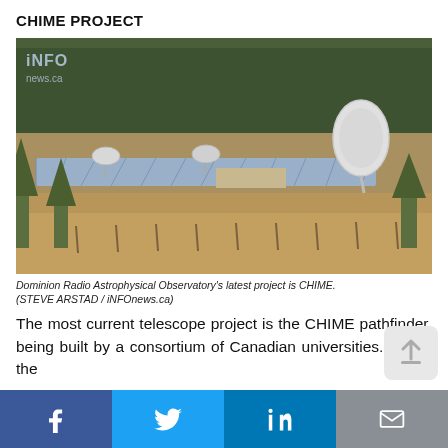CHIME PROJECT
[Figure (photo): Aerial view of the Dominion Radio Astrophysical Observatory showing the CHIME telescope array — long rows of cylindrical radio reflectors — alongside satellite dishes and a large parabolic antenna, set in a field with coniferous forest in the background. iNFOnews.ca watermark visible top-left.]
Dominion Radio Astrophysical Observatory's latest project is CHIME. (STEVE ARSTAD / iNFOnews.ca)
The most current telescope project is the CHIME pathfinder, being built by a consortium of Canadian universities. It is in the